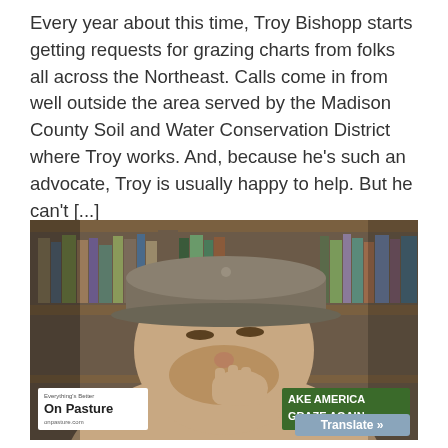Every year about this time, Troy Bishopp starts getting requests for grazing charts from folks all across the Northeast. Calls come in from well outside the area served by the Madison County Soil and Water Conservation District where Troy works. And, because he's such an advocate, Troy is usually happy to help. But he can't [...]
[Figure (photo): Video screenshot of a man wearing a gray baseball cap, sitting in front of a bookshelf filled with books. He has his hand raised near his face. In the lower left corner is a white label reading 'Everything's Better On Pasture' with a website. In the lower right corner is a green label reading 'AKE AMERICA GRAZE AGAIN'. A blue 'Translate »' button appears in the bottom right.]